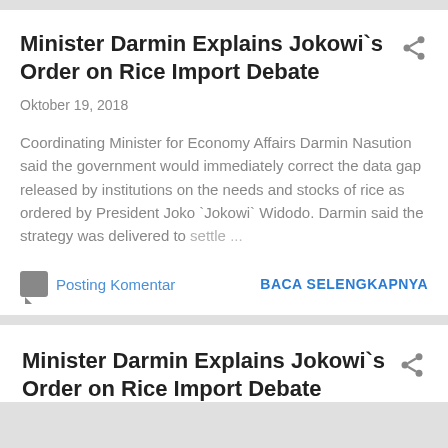Minister Darmin Explains Jokowi`s Order on Rice Import Debate
Oktober 19, 2018
Coordinating Minister for Economy Affairs Darmin Nasution said the government would immediately correct the data gap released by institutions on the needs and stocks of rice as ordered by President Joko `Jokowi` Widodo. Darmin said the strategy was delivered to settle ...
Posting Komentar
BACA SELENGKAPNYA
Minister Darmin Explains Jokowi`s Order on Rice Import Debate